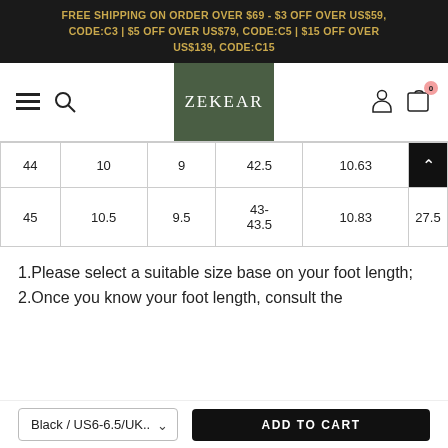FREE SHIPPING ON ORDER OVER $69 - $3 OFF OVER US$59, CODE:C3 | $5 OFF OVER US$79, CODE:C5 | $15 OFF OVER US$139, CODE:C15
[Figure (logo): ZEKEAR logo on dark green background]
| 44 | 10 | 9 | 42.5 | 10.63 | 2[truncated] |
| 45 | 10.5 | 9.5 | 43-43.5 | 10.83 | 27.5 |
1.Please select a suitable size base on your foot length; 2.Once you know your foot length, consult the